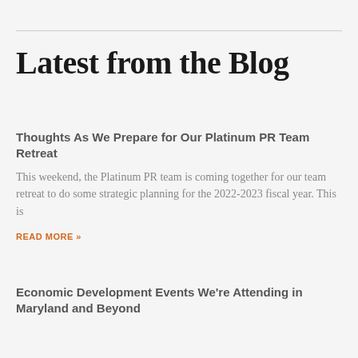Latest from the Blog
Thoughts As We Prepare for Our Platinum PR Team Retreat
This weekend, the Platinum PR team is coming together for our team retreat to do some strategic planning for the 2022-2023 fiscal year. This is
READ MORE »
Economic Development Events We're Attending in Maryland and Beyond